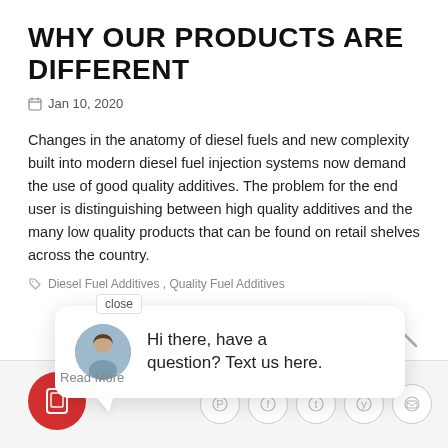WHY OUR PRODUCTS ARE DIFFERENT
Jan 10, 2020
Changes in the anatomy of diesel fuels and new complexity built into modern diesel fuel injection systems now demand the use of good quality additives. The problem for the end user is distinguishing between high quality additives and the many low quality products that can be found on retail shelves across the country.
Diesel Fuel Additives , Quality Fuel Additives
[Figure (screenshot): Chat popup widget with avatar photo of woman and text: Hi there, have a question? Text us here.]
[Figure (infographic): Bottom bar with red FAB button (tablet icon), social share icons (pinterest, facebook, tumblr, twitter, email), and scroll-to-top chevron]